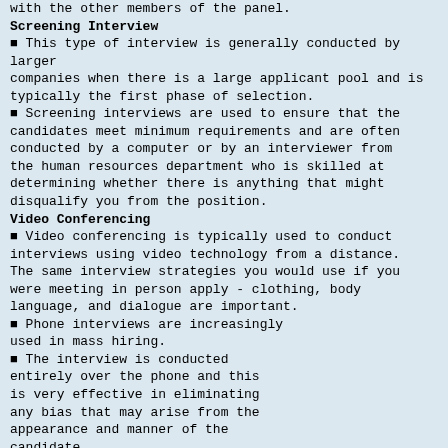with the other members of the panel.
Screening Interview
This type of interview is generally conducted by larger companies when there is a large applicant pool and is typically the first phase of selection.
Screening interviews are used to ensure that the candidates meet minimum requirements and are often conducted by a computer or by an interviewer from the human resources department who is skilled at determining whether there is anything that might disqualify you from the position.
Video Conferencing
Video conferencing is typically used to conduct interviews using video technology from a distance. The same interview strategies you would use if you were meeting in person apply - clothing, body language, and dialogue are important.
Phone interviews are increasingly used in mass hiring.
The interview is conducted entirely over the phone and this is very effective in eliminating any bias that may arise from the appearance and manner of the candidate.
Phone Interview
Why the phone interview?
Phone interviews are often used to screen candidates in order to narrow the pool of applicants who will be invited for in-person interviews- and is a good way to